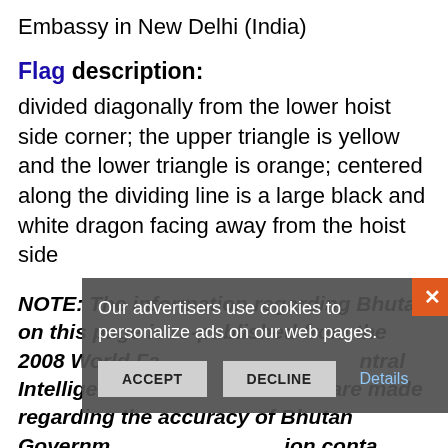Embassy in New Delhi (India)
Flag description:
divided diagonally from the lower hoist side corner; the upper triangle is yellow and the lower triangle is orange; centered along the dividing line is a large black and white dragon facing away from the hoist side
NOTE: The information regarding Bhutan on this page is re-published from the 2008 World Factbook of the US Central Intelligence Agency. No claims are made regarding the accuracy of Bhutan Government 2008 information contained here. All suggestions for corrections of any errors about Bhutan Government 2008 should be addressed to the CIA.
Our advertisers use cookies to personalize ads on our web pages.